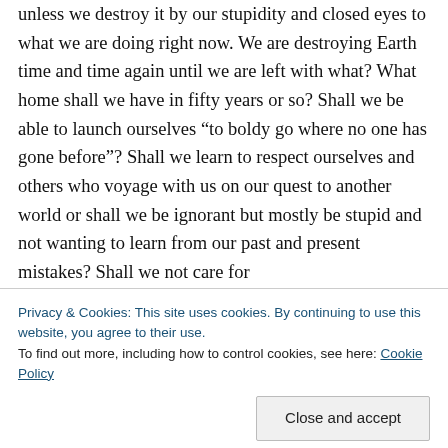unless we destroy it by our stupidity and closed eyes to what we are doing right now. We are destroying Earth time and time again until we are left with what? What home shall we have in fifty years or so? Shall we be able to launch ourselves “to boldy go where no one has gone before”? Shall we learn to respect ourselves and others who voyage with us on our quest to another world or shall we be ignorant but mostly be stupid and not wanting to learn from our past and present mistakes? Shall we not care for
Privacy & Cookies: This site uses cookies. By continuing to use this website, you agree to their use.
To find out more, including how to control cookies, see here: Cookie Policy
learn not to as Jesus said- those who have not